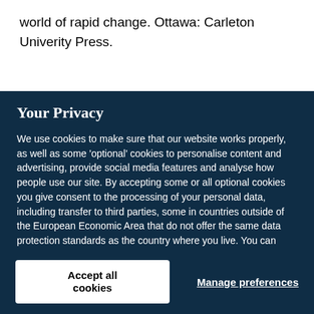world of rapid change. Ottawa: Carleton Univerity Press.
Your Privacy
We use cookies to make sure that our website works properly, as well as some 'optional' cookies to personalise content and advertising, provide social media features and analyse how people use our site. By accepting some or all optional cookies you give consent to the processing of your personal data, including transfer to third parties, some in countries outside of the European Economic Area that do not offer the same data protection standards as the country where you live. You can decide which optional cookies to accept by clicking on 'Manage Settings', where you can also find more information about how your personal data is processed. Further information can be found in our privacy policy.
Accept all cookies
Manage preferences